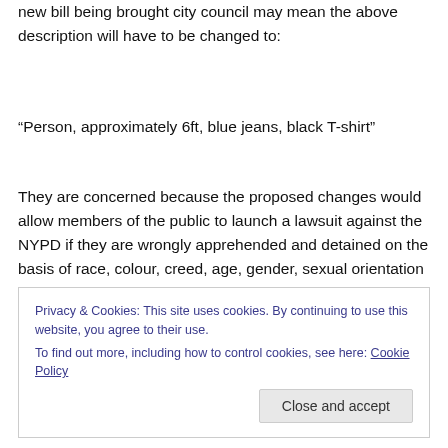new bill being brought city council may mean the above description will have to be changed to:
“Person, approximately 6ft, blue jeans, black T-shirt”
They are concerned because the proposed changes would allow members of the public to launch a lawsuit against the NYPD if they are wrongly apprehended and detained on the basis of race, colour, creed, age, gender, sexual orientation or disability, amongst other things. The police union have launched a campaign featuring an
Privacy & Cookies: This site uses cookies. By continuing to use this website, you agree to their use.
To find out more, including how to control cookies, see here: Cookie Policy
Close and accept